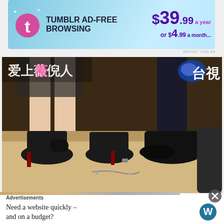[Figure (other): Tumblr Ad-Free Browsing advertisement banner. Blue gradient background with Tumblr logo (pink 't' with sparkles), text 'TUMBLR AD-FREE BROWSING', pricing '$39.99 a year or $4.99 a month'.]
REPORT THIS AD
[Figure (screenshot): Video screenshot from a Taiwanese TV show (台視 channel). Shows people's feet and legs from below: a woman in black high heels on the left, men in black dress shoes on the right. Items on the floor. Chinese text overlay '爱上薇倪人' on top left and '台視' logo on top right.]
Advertisements
Need a website quickly – and on a budget?